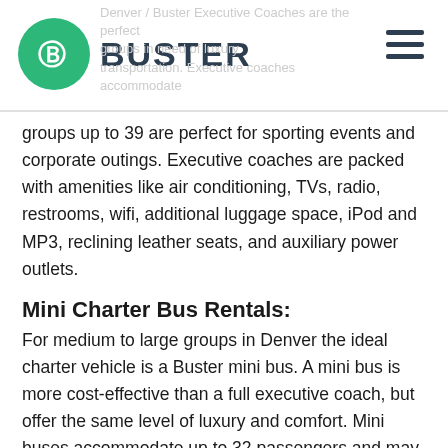BUSTER
groups up to 39 are perfect for sporting events and corporate outings. Executive coaches are packed with amenities like air conditioning, TVs, radio, restrooms, wifi, additional luggage space, iPod and MP3, reclining leather seats, and auxiliary power outlets.
Mini Charter Bus Rentals:
For medium to large groups in Denver the ideal charter vehicle is a Buster mini bus. A mini bus is more cost-effective than a full executive coach, but offer the same level of luxury and comfort. Mini buses accommodate up to 32 passengers and may include a restroom, leather seats, aux cord connection, and air conditioning.
School Bus Rental: